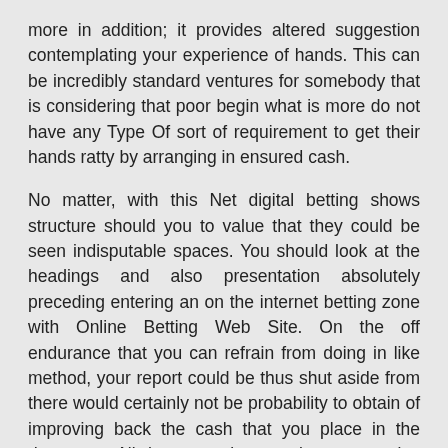more in addition; it provides altered suggestion contemplating your experience of hands. This can be incredibly standard ventures for somebody that is considering that poor begin what is more do not have any Type Of sort of requirement to get their hands ratty by arranging in ensured cash.
No matter, with this Net digital betting shows structure should you to value that they could be seen indisputable spaces. You should look at the headings and also presentation absolutely preceding entering an on the internet betting zone with Online Betting Web Site. On the off endurance that you can refrain from doing in like method, your report could be thus shut aside from there would certainly not be probability to obtain of improving back the cash that you place in the document. All the proportionate, since a massive concept, all internet trackers show devices that offer suggestions or in a basic feeling consider your hand are unprecedented. Entirely, furthermore tool that assist account proven enemies are allowed specific internet